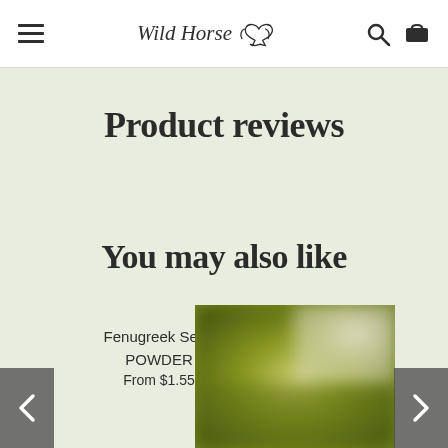Wild Horse Products — navigation header with hamburger menu, logo, search and cart icons
Product reviews
You may also like
Fenugreek Seed POWDER
From $1.55
[Figure (photo): Blurred photo of green/olive-yellow powder product (Fenugreek Seed Powder)]